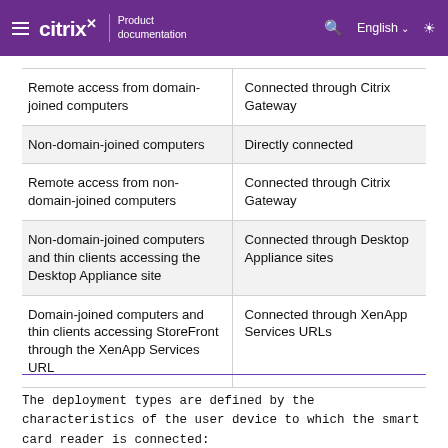Citrix Product documentation | English
|  |  |
| --- | --- |
| Remote access from domain-joined computers | Connected through Citrix Gateway |
| Non-domain-joined computers | Directly connected |
| Remote access from non-domain-joined computers | Connected through Citrix Gateway |
| Non-domain-joined computers and thin clients accessing the Desktop Appliance site | Connected through Desktop Appliance sites |
| Domain-joined computers and thin clients accessing StoreFront through the XenApp Services URL | Connected through XenApp Services URLs |
The deployment types are defined by the characteristics of the user device to which the smart card reader is connected: